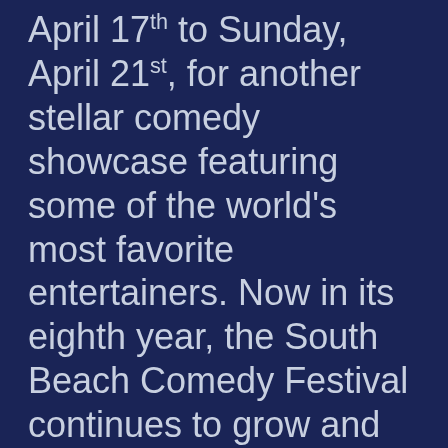April 17th to Sunday, April 21st, for another stellar comedy showcase featuring some of the world's most favorite entertainers. Now in its eighth year, the South Beach Comedy Festival continues to grow and remains one of the premiere comedy festivals for top comedic talent and fans across the country. This year's event features Bill Burr, Jamel Debouzze, Pete Holmes, Jim Jefferies, Seth Meyers, Tracy Morgan, Amy Schumer, Sarah Silverman and much, much more. Tickets go on sale Friday, March 1st at 10AM through